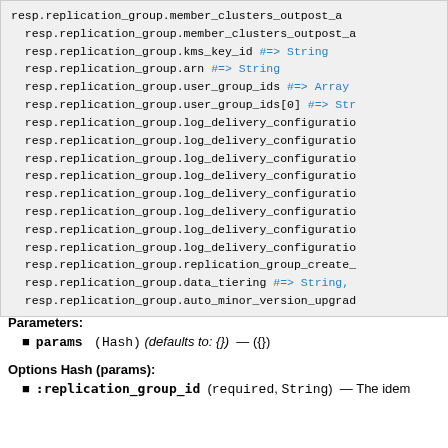resp.replication_group.member_clusters_outpost_a
resp.replication_group.member_clusters_outpost_a
resp.replication_group.kms_key_id #=> String
resp.replication_group.arn #=> String
resp.replication_group.user_group_ids #=> Array
resp.replication_group.user_group_ids[0] #=> Str
resp.replication_group.log_delivery_configuratio
resp.replication_group.log_delivery_configuratio
resp.replication_group.log_delivery_configuratio
resp.replication_group.log_delivery_configuratio
resp.replication_group.log_delivery_configuratio
resp.replication_group.log_delivery_configuratio
resp.replication_group.log_delivery_configuratio
resp.replication_group.log_delivery_configuratio
resp.replication_group.replication_group_create_
resp.replication_group.data_tiering #=> String,
resp.replication_group.auto_minor_version_upgrad
Parameters:
params (Hash) (defaults to: {}) — ({})
Options Hash (params):
:replication_group_id (required, String) — The idem